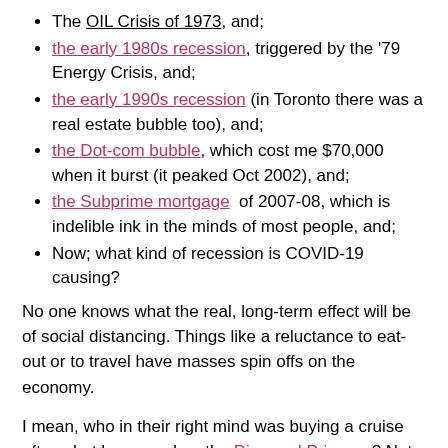The OIL Crisis of 1973, and;
the early 1980s recession, triggered by the '79 Energy Crisis, and;
the early 1990s recession (in Toronto there was a real estate bubble too), and;
the Dot-com bubble, which cost me $70,000 when it burst (it peaked Oct 2002), and;
the Subprime mortgage  of 2007-08, which is indelible ink in the minds of most people, and;
Now; what kind of recession is COVID-19 causing?
No one knows what the real, long-term effect will be of social distancing. Things like a reluctance to eat-out or to travel have masses spin offs on the economy.
I mean, who in their right mind was buying a cruise  after what happened on the Diamond Princess? Not me.
Interestingly, every recession before the one that is happening now, all came after a spike in oil prices. That is why I believe that no one knows what is going to happen